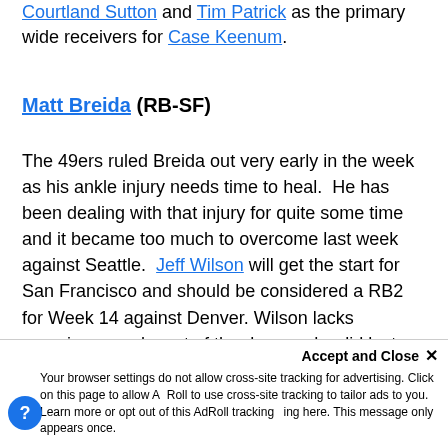Courtland Sutton and Tim Patrick as the primary wide receivers for Case Keenum.
Matt Breida (RB-SF)
The 49ers ruled Breida out very early in the week as his ankle injury needs time to heal.  He has been dealing with that injury for quite some time and it became too much to overcome last week against Seattle.  Jeff Wilson will get the start for San Francisco and should be considered a RB2 for Week 14 against Denver.  Wilson lacks experience and most of the damage he did last week was in garbage time, but there are so many injuries to running backs right now that fantasy GMs just need players who are clearly going to at least play.
Accept and Close ✕ Your browser settings do not allow cross-site tracking for advertising. Click on this page to allow AdRoll to use cross-site tracking to tailor ads to you. Learn more or opt out of this AdRoll tracking king here. This message only appears once.